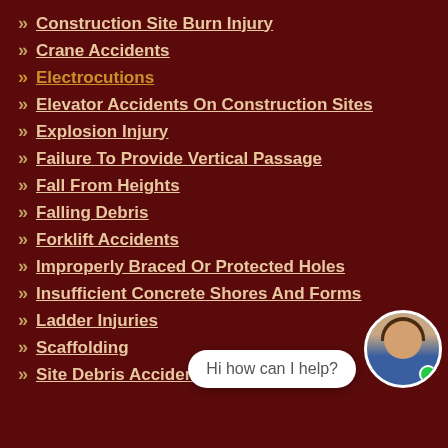Construction Site Burn Injury
Crane Accidents
Electrocutions
Elevator Accidents On Construction Sites
Explosion Injury
Failure To Provide Vertical Passage
Fall From Heights
Falling Debris
Forklift Accidents
Improperly Braced Or Protected Holes
Insufficient Concrete Shores And Forms
Ladder Injuries
Scaffolding
Site Debris Accidents
Hi how can I help?